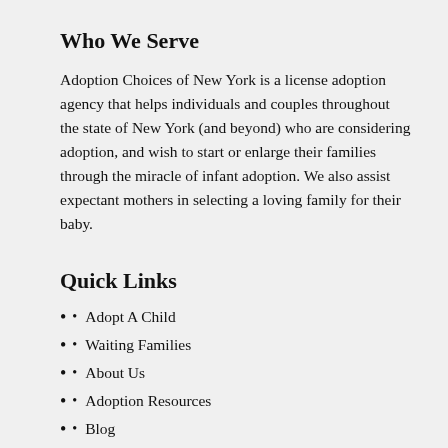Who We Serve
Adoption Choices of New York is a license adoption agency that helps individuals and couples throughout the state of New York (and beyond) who are considering adoption, and wish to start or enlarge their families through the miracle of infant adoption. We also assist expectant mothers in selecting a loving family for their baby.
Quick Links
Adopt A Child
Waiting Families
About Us
Adoption Resources
Blog